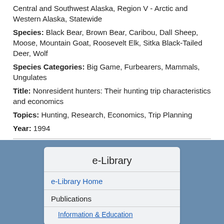Central and Southwest Alaska, Region V - Arctic and Western Alaska, Statewide
Species: Black Bear, Brown Bear, Caribou, Dall Sheep, Moose, Mountain Goat, Roosevelt Elk, Sitka Black-Tailed Deer, Wolf
Species Categories: Big Game, Furbearers, Mammals, Ungulates
Title: Nonresident hunters: Their hunting trip characteristics and economics
Topics: Hunting, Research, Economics, Trip Planning
Year: 1994
See more: Wildlife Publications
[Figure (screenshot): Facebook Like and Share buttons]
e-Library
e-Library Home
Publications
Information & Education